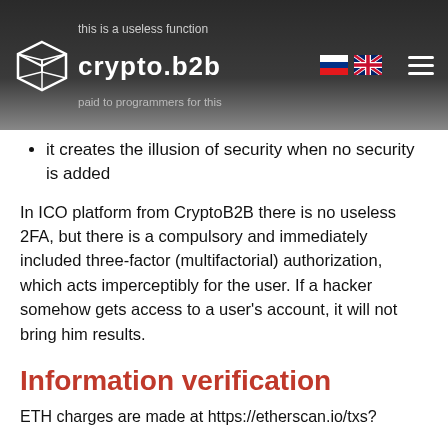this is a useless function
crypto.b2b
paid to programmers for this
it creates the illusion of security when no security is added
In ICO platform from CryptoB2B there is no useless 2FA, but there is a compulsory and immediately included three-factor (multifactorial) authorization, which acts imperceptibly for the user. If a hacker somehow gets access to a user's account, it will not bring him results.
Information verification
ETH charges are made at https://etherscan.io/txs?